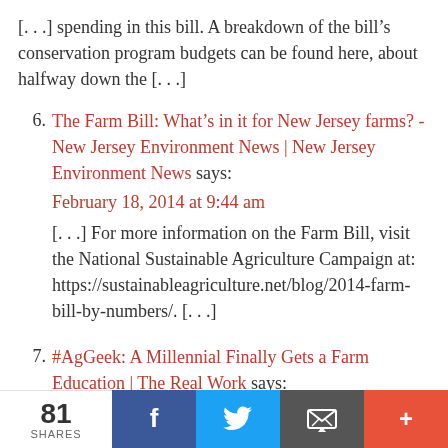[. . .] spending in this bill. A breakdown of the bill’s conservation program budgets can be found here, about halfway down the [. . .]
6. The Farm Bill: What’s in it for New Jersey farms? - New Jersey Environment News | New Jersey Environment News says:
February 18, 2014 at 9:44 am
[. . .] For more information on the Farm Bill, visit the National Sustainable Agriculture Campaign at: https://sustainableagriculture.net/blog/2014-farm-bill-by-numbers/. [. . .]
7. #AgGeek: A Millennial Finally Gets a Farm Education | The Real Work says:
February 23, 2014 at 7:24 pm
[. . .] concerns, governmental food aid at home and abroad.  Have you taken a look at the 2014 Farm Bill? Agribusiness has a lot of weight (i.e. money) to throw
81 SHARES